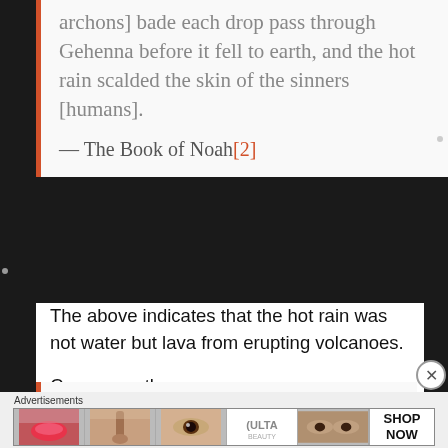archons] bade each drop pass through Gehenna before it fell to earth, and the hot rain scalded the skin of the sinners [humans].
— The Book of Noah[2]
The above indicates that the hot rain was not water but lava from erupting volcanoes.
Consequently,
[Figure (other): Advertisement banner showing Ulta Beauty cosmetics ad with close-up photos of lips, makeup brushes, eyes, Ulta logo, and a SHOP NOW button]